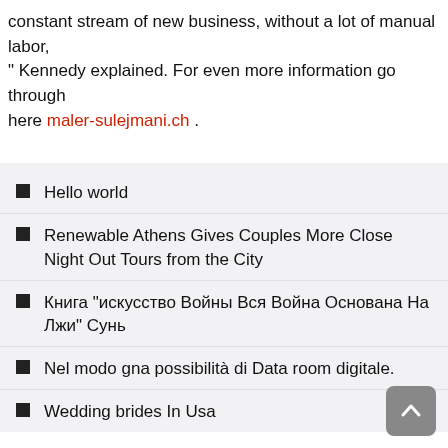constant stream of new business, without a lot of manual labor, " Kennedy explained. For even more information go through here maler-sulejmani.ch .
Hello world
Renewable Athens Gives Couples More Close Night Out Tours from the City
Книга "искусство Войны Вся Война Основана На Лжи" Сунь
Nel modo gna possibilità di Data room digitale.
Wedding brides In Usa